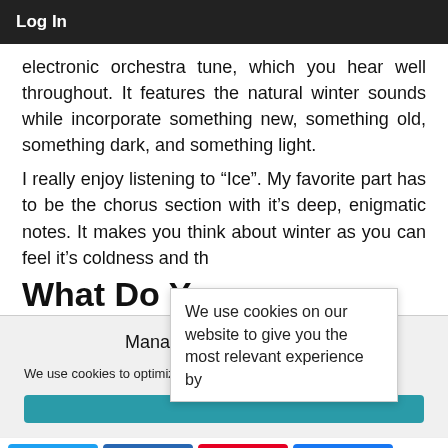Log In
electronic orchestra tune, which you hear well throughout. It features the natural winter sounds while incorporate something new, something old, something dark, and something light.
I really enjoy listening to “Ice”. My favorite part has to be the chorus section with it’s deep, enigmatic notes. It makes you think about winter as you can feel it’s coldness and th
We use cookies on our website to give you the most relevant experience by
What Do Y
Manage Cookie Consent
We use cookies to optimize our website and our service.
[Figure (other): Teal/cyan colored button bar for cookie consent options]
170 SHARES